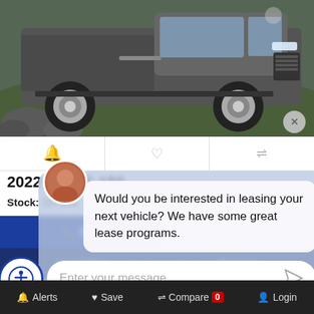[Figure (photo): Front/side view of a 2022 Ford F-150 pickup truck parked outdoors on grass with rocks in background]
2022 Ford F-150 XL
Stock: 22T843
Would you be interested in leasing your next vehicle? We have some great lease programs.
Enter your message
Live Chat
Text Us
Calculate Your Payment
Alerts  Save  Compare 0  Login